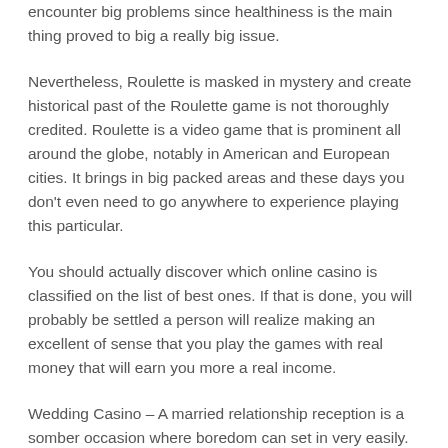encounter big problems since healthiness is the main thing proved to big a really big issue.
Nevertheless, Roulette is masked in mystery and create historical past of the Roulette game is not thoroughly credited. Roulette is a video game that is prominent all around the globe, notably in American and European cities. It brings in big packed areas and these days you don't even need to go anywhere to experience playing this particular.
You should actually discover which online casino is classified on the list of best ones. If that is done, you will probably be settled a person will realize making an excellent of sense that you play the games with real money that will earn you more a real income.
Wedding Casino – A married relationship reception is a somber occasion where boredom can set in very easily. But not having a wedding casino hire description brings in exciting games and attractive prizes which might be to be won. Birthday Casino – If